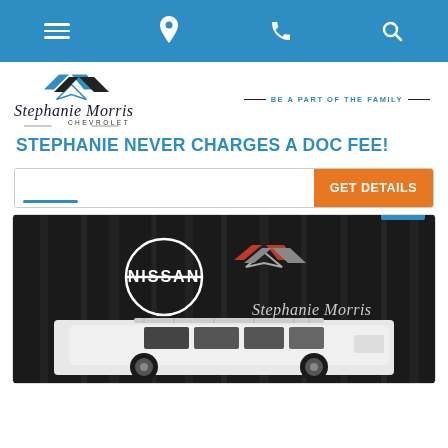Navigation bar with menu, location, phone, and search icons
[Figure (logo): Stephanie Morris Chevrolet logo with stylized SM emblem and tagline 'BE A PART OF THE FAMILY']
STEPHANIE NEVER CHARGES A DOC FEE!
[Figure (screenshot): Search bar with blue underline accent and orange GET DETAILS button]
[Figure (photo): White Nissan SUV vehicle on dark background with Nissan logo and Stephanie Morris branding]